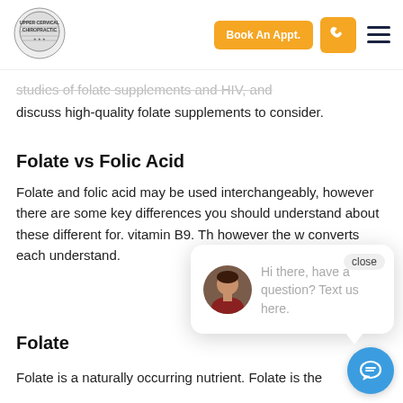Book An Appt.
studies of folate supplements and HIV, and discuss high-quality folate supplements to consider.
Folate vs Folic Acid
Folate and folic acid may be used interchangeably, however there are some key differences you should understand about these different for. vitamin B9. Th however the w converts each understand.
[Figure (other): Chat popup widget with avatar photo and text: 'Hi there, have a question? Text us here.' with a close button.]
Folate
Folate is a naturally occurring nutrient. Folate is the